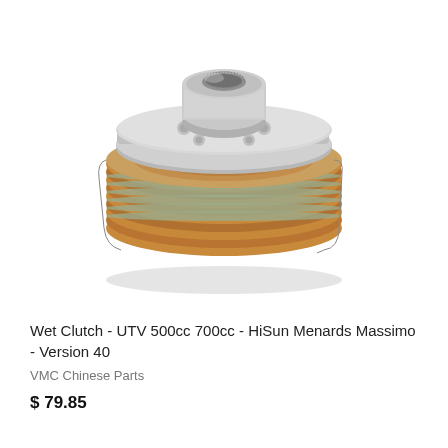[Figure (photo): A wet clutch assembly for UTV 500cc 700cc, showing a round metal hub with splined center bore, surrounded by alternating bronze/copper friction discs and steel plates, viewed from a slightly elevated angle against white background.]
Wet Clutch - UTV 500cc 700cc - HiSun Menards Massimo - Version 40
VMC Chinese Parts
$ 79.85